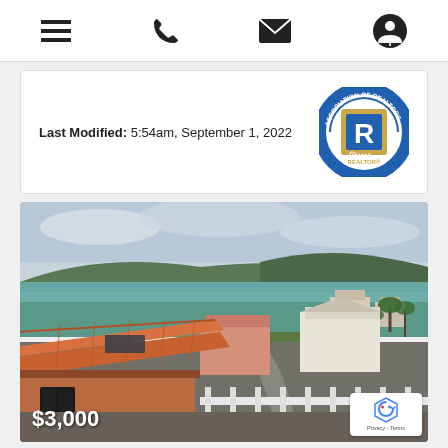Navigation bar with menu, phone, email, and account icons
Last Modified: 5:54am, September 1, 2022
[Figure (logo): Association of Realtors Guam circular seal/logo with gold and blue colors]
[Figure (photo): Aerial/elevated view of a coastal property in Guam showing a house with terracotta roof tiles, white fence, ocean and bay in the background with green hills, palm trees, and neighboring buildings. Price overlay shows $3,000. reCAPTCHA badge visible in bottom right.]
$3,000